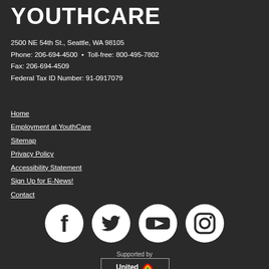YOUTHCARE
2500 NE 54th St., Seattle, WA 98105
Phone: 206-694-4500  •  Toll-free: 800-495-7802
Fax: 206-694-4509
Federal Tax ID Number: 91-0917079
Home
Employment at YouthCare
Sitemap
Privacy Policy
Accessibility Statement
Sign Up for E-News!
Contact
[Figure (illustration): Four white circular social media icons: Facebook, Twitter, YouTube, Instagram]
Supported by
[Figure (logo): United Way logo with rainbow arc]